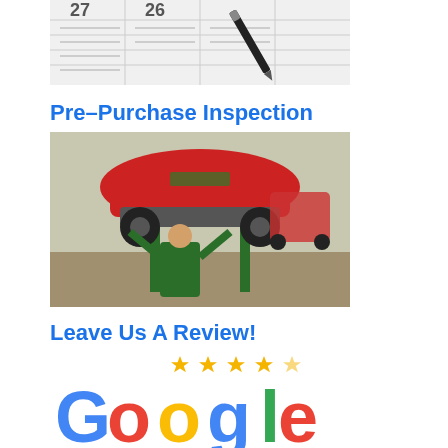[Figure (photo): Calendar pages with a pen resting on top, showing dates 27 and 26]
Pre-Purchase Inspection
[Figure (photo): A mechanic in a green uniform inspecting the underside of a red car lifted on a hydraulic lift in an auto shop]
Leave Us A Review!
[Figure (logo): Google logo with five gold stars above it, indicating a Google review prompt]